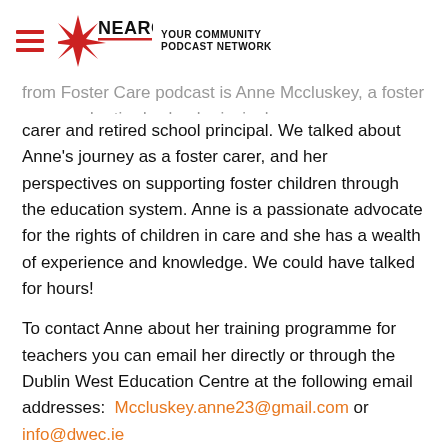NEARCAST — YOUR COMMUNITY PODCAST NETWORK
from Foster Care podcast is Anne Mccluskey, a foster carer and retired school principal. We talked about Anne's journey as a foster carer, and her perspectives on supporting foster children through the education system. Anne is a passionate advocate for the rights of children in care and she has a wealth of experience and knowledge. We could have talked for hours!
To contact Anne about her training programme for teachers you can email her directly or through the Dublin West Education Centre at the following email addresses:  Mccluskey.anne23@gmail.com or info@dwec.ie
For more information about the Circle of Security Programme for...